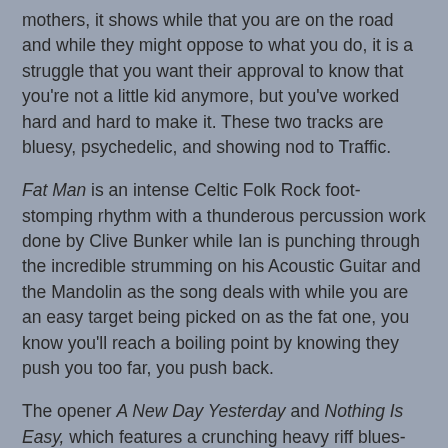mothers, it shows while that you are on the road and while they might oppose to what you do, it is a struggle that you want their approval to know that you're not a little kid anymore, but you've worked hard and hard to make it. These two tracks are bluesy, psychedelic, and showing nod to Traffic.
Fat Man is an intense Celtic Folk Rock foot-stomping rhythm with a thunderous percussion work done by Clive Bunker while Ian is punching through the incredible strumming on his Acoustic Guitar and the Mandolin as the song deals with while you are an easy target being picked on as the fat one, you know you'll reach a boiling point by knowing they push you too far, you push back.
The opener A New Day Yesterday and Nothing Is Easy, which features a crunching heavy riff blues-rockin' opener and Ian's switch both from Harmonica to Flute is jaw-dropping along with Martin's instrument going through a circular phasing sound as the sixth track with Martin delivering the message again as Clive delves into some of the essence of a mode style in the work of Buddy Rich.